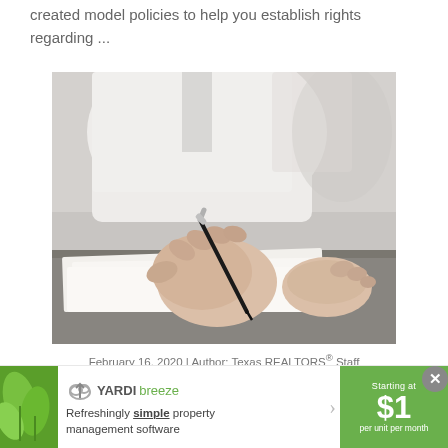created model policies to help you establish rights regarding ...
[Figure (photo): Person in white shirt signing documents with a pen at a desk]
February 16, 2020 | Author: Texas REALTORS® Staff
[Figure (infographic): Yardi Breeze advertisement banner: Refreshingly simple property management software. Starting at $1 per unit per month.]